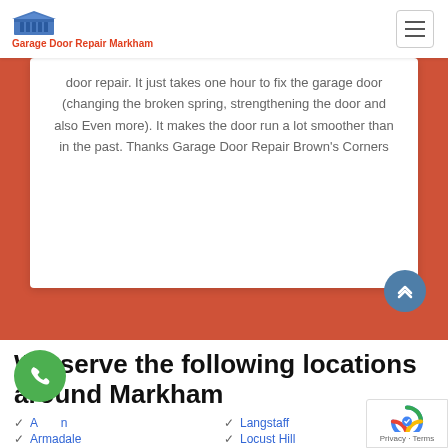Garage Door Repair Markham
door repair. It just takes one hour to fix the garage door (changing the broken spring, strengthening the door and also Even more). It makes the door run a lot smoother than in the past. Thanks Garage Door Repair Brown's Corners
We serve the following locations around Markham
Angleden
Langstaff
Armadale
Locust Hill
Berczy Village
Markham Village